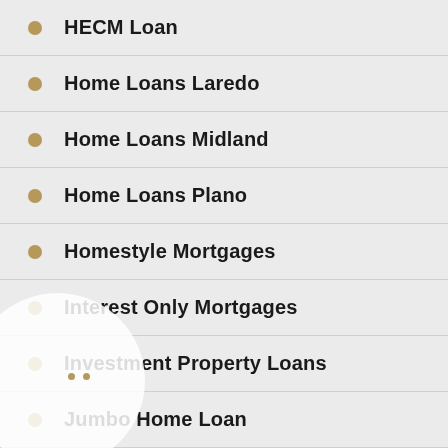HECM Loan
Home Loans Laredo
Home Loans Midland
Home Loans Plano
Homestyle Mortgages
Interest Only Mortgages
Investment Property Loans
Jumbo Home Loan
Mortgage Lending